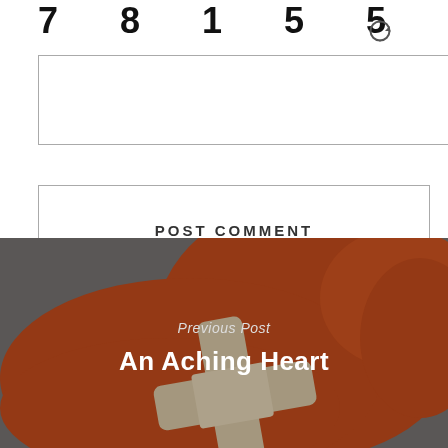7  8  1  5  5
[Figure (other): CAPTCHA input box with a refresh icon to the right]
POST COMMENT
[Figure (photo): A rust-orange felt heart with a beige cross/bandage on it, on a grey background. Overlay text reads 'Previous Post' and 'An Aching Heart'.]